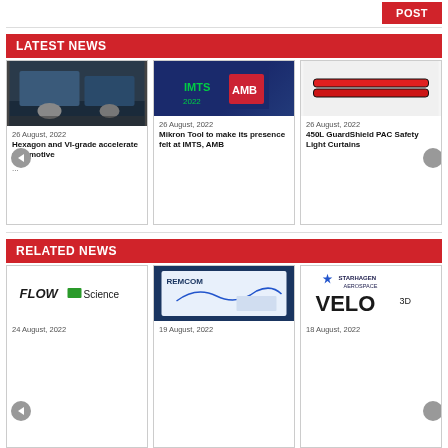POST
LATEST NEWS
[Figure (photo): Automotive simulation screenshot showing racing vehicles]
26 August, 2022
Hexagon and VI-grade accelerate automotive
[Figure (logo): IMTS 2022 AMB logo on dark blue background]
26 August, 2022
Mikron Tool to make its presence felt at IMTS, AMB
[Figure (photo): 450L GuardShield PAC Safety Light Curtains product image]
26 August, 2022
450L GuardShield PAC Safety Light Curtains
RELATED NEWS
[Figure (logo): FLOW Science logo]
24 August, 2022
[Figure (screenshot): Remcom software interface screenshot]
19 August, 2022
[Figure (logo): StarHagen Aerospace VELO 3D logo]
18 August, 2022